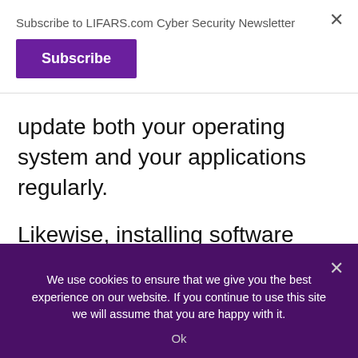Subscribe to LIFARS.com Cyber Security Newsletter
Subscribe
update both your operating system and your applications regularly.
Likewise, installing software from unknown sites is perilous since you never know what you’ll receive. It is safest to stick to official websites or the App Store. Also, backup your data to an external drive and unplug it from
We use cookies to ensure that we give you the best experience on our website. If you continue to use this site we will assume that you are happy with it.
Ok